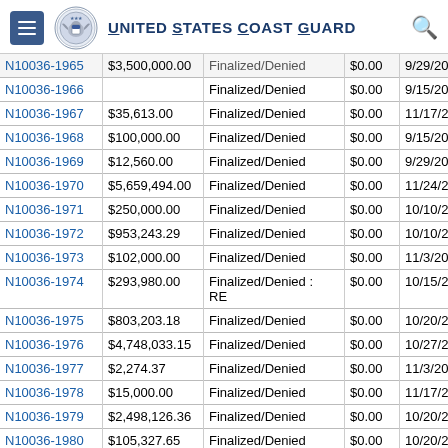United States Coast Guard
| Case Number | Amount | Status | Paid | Date |
| --- | --- | --- | --- | --- |
| N10036-1965 | $3,500,000.00 | Finalized/Denied | $0.00 | 9/29/2013 |
| N10036-1966 |  | Finalized/Denied | $0.00 | 9/15/2013 |
| N10036-1967 | $35,613.00 | Finalized/Denied | $0.00 | 11/17/2013 |
| N10036-1968 | $100,000.00 | Finalized/Denied | $0.00 | 9/15/2013 |
| N10036-1969 | $12,560.00 | Finalized/Denied | $0.00 | 9/29/2013 |
| N10036-1970 | $5,659,494.00 | Finalized/Denied | $0.00 | 11/24/2013 |
| N10036-1971 | $250,000.00 | Finalized/Denied | $0.00 | 10/10/2013 |
| N10036-1972 | $953,243.29 | Finalized/Denied | $0.00 | 10/10/2013 |
| N10036-1973 | $102,000.00 | Finalized/Denied | $0.00 | 11/3/2013 |
| N10036-1974 | $293,980.00 | Finalized/Denied : RE | $0.00 | 10/15/2013 |
| N10036-1975 | $803,203.18 | Finalized/Denied | $0.00 | 10/20/2013 |
| N10036-1976 | $4,748,033.15 | Finalized/Denied | $0.00 | 10/27/2013 |
| N10036-1977 | $2,274.37 | Finalized/Denied | $0.00 | 11/3/2013 |
| N10036-1978 | $15,000.00 | Finalized/Denied | $0.00 | 11/17/2013 |
| N10036-1979 | $2,498,126.36 | Finalized/Denied | $0.00 | 10/20/2013 |
| N10036-1980 | $105,327.65 | Finalized/Denied | $0.00 | 10/20/2013 |
| N10036-1981 | $155,937.31 | Finalized/Denied | $0.00 | 10/20/2013 |
| N10036-1982 | $914,980.92 | Finalized/Denied | $0.00 | 10/20/2013 |